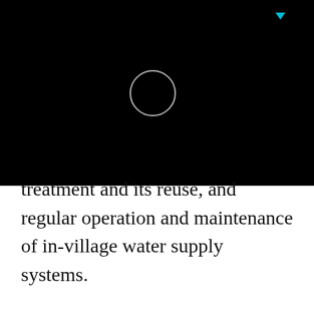[Figure (other): Black background with a white circle outline and a small cyan triangle/arrow at top]
treatment and its reuse, and regular operation and maintenance of in-village water supply systems.